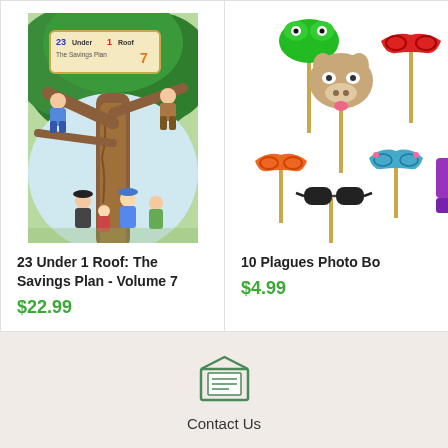[Figure (photo): Book cover: 23 Under 1 Roof: The Savings Plan - Volume 7. Shows illustrated children climbing a large tree with adults below, green foliage background, sign reading '23 Under 1 Roof The Savings Plan 7']
23 Under 1 Roof: The Savings Plan - Volume 7
$22.99
[Figure (photo): 10 Plagues Photo Booth props/masks on sticks: green frog mask, red mask, brown cow head, orange and blue decorative masks, black sunglasses, purple item — all on wooden sticks against white background]
10 Plagues Photo Bo...
$4.99
[Figure (illustration): Envelope icon with lines suggesting a letter inside, for Contact Us section]
Contact Us